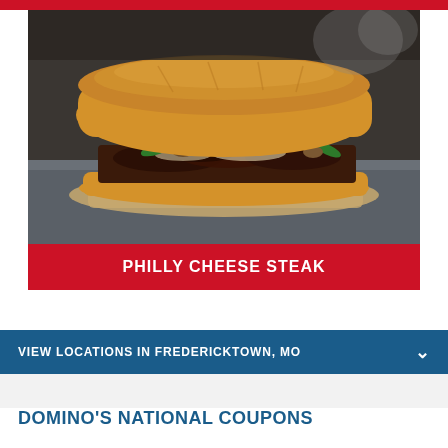[Figure (photo): Photo of a Philly Cheese Steak sandwich on parchment paper, filled with steak, green peppers, mushrooms, onions, and cheese, on a metal surface]
PHILLY CHEESE STEAK
VIEW LOCATIONS IN FREDERICKTOWN, MO
DOMINO'S NATIONAL COUPONS